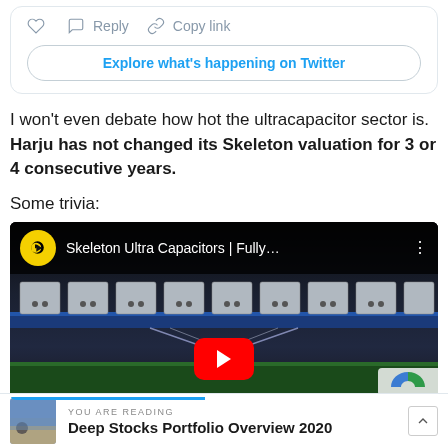[Figure (screenshot): Twitter card with heart, reply, copy link icons and 'Explore what's happening on Twitter' button]
I won't even debate how hot the ultracapacitor sector is. Harju has not changed its Skeleton valuation for 3 or 4 consecutive years.
Some trivia:
[Figure (screenshot): YouTube video thumbnail for 'Skeleton Ultra Capacitors | Fully...' showing capacitor hardware with play button]
[Figure (screenshot): Bottom reading bar: YOU ARE READING Deep Stocks Portfolio Overview 2020]